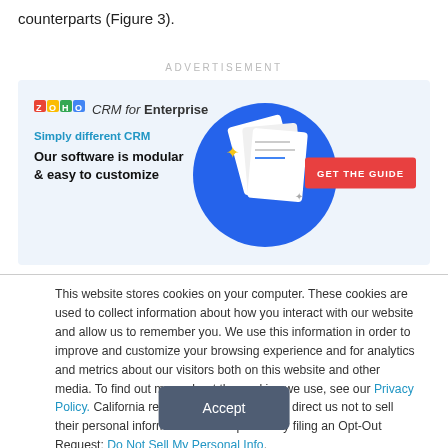counterparts (Figure 3).
ADVERTISEMENT
[Figure (infographic): Zoho CRM for Enterprise advertisement banner. Light blue background with Zoho logo, tagline 'Simply different CRM', headline 'Our software is modular & easy to customize', illustrated documents graphic on right, and red 'GET THE GUIDE' button.]
This website stores cookies on your computer. These cookies are used to collect information about how you interact with our website and allow us to remember you. We use this information in order to improve and customize your browsing experience and for analytics and metrics about our visitors both on this website and other media. To find out more about the cookies we use, see our Privacy Policy. California residents have the right to direct us not to sell their personal information to third parties by filing an Opt-Out Request: Do Not Sell My Personal Info.
Accept